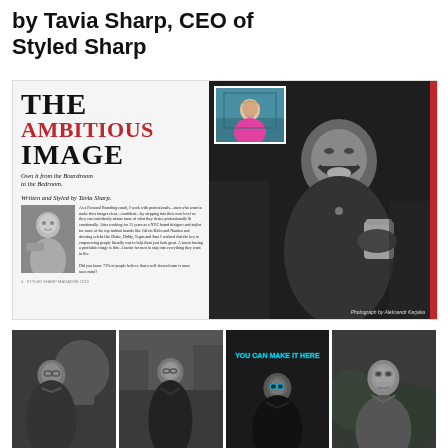by Tavia Sharp, CEO of Styled Sharp
[Figure (photo): Magazine spread showing 'THE AMBITIOUS IMAGE – Own it from the Boardroom to the Bedroom' with article text, a small photo of a man with coffee, a large B&W photo of a laughing man, and a small inset color photo of a woman in pink]
[Figure (photo): Four black and white street photography portraits of a man in various urban settings, including one with 'YOU CAN MAKE IT HERE' neon sign]